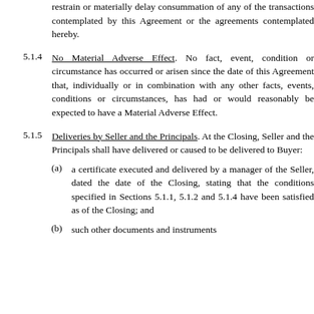restrain or materially delay consummation of any of the transactions contemplated by this Agreement or the agreements contemplated hereby.
5.1.4 No Material Adverse Effect. No fact, event, condition or circumstance has occurred or arisen since the date of this Agreement that, individually or in combination with any other facts, events, conditions or circumstances, has had or would reasonably be expected to have a Material Adverse Effect.
5.1.5 Deliveries by Seller and the Principals. At the Closing, Seller and the Principals shall have delivered or caused to be delivered to Buyer:
(a) a certificate executed and delivered by a manager of the Seller, dated the date of the Closing, stating that the conditions specified in Sections 5.1.1, 5.1.2 and 5.1.4 have been satisfied as of the Closing; and
(b) such other documents and instruments